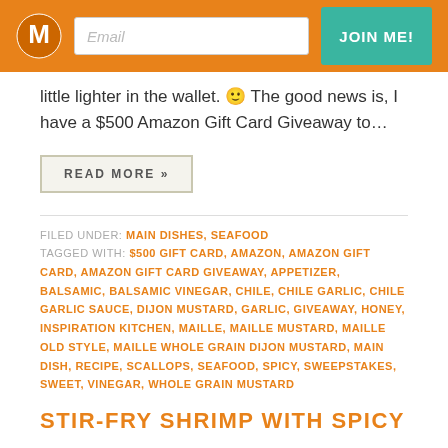Email | JOIN ME!
little lighter in the wallet. 🙂 The good news is, I have a $500 Amazon Gift Card Giveaway to…
READ MORE »
FILED UNDER: MAIN DISHES, SEAFOOD
TAGGED WITH: $500 GIFT CARD, AMAZON, AMAZON GIFT CARD, AMAZON GIFT CARD GIVEAWAY, APPETIZER, BALSAMIC, BALSAMIC VINEGAR, CHILE, CHILE GARLIC, CHILE GARLIC SAUCE, DIJON MUSTARD, GARLIC, GIVEAWAY, HONEY, INSPIRATION KITCHEN, MAILLE, MAILLE MUSTARD, MAILLE OLD STYLE, MAILLE WHOLE GRAIN DIJON MUSTARD, MAIN DISH, RECIPE, SCALLOPS, SEAFOOD, SPICY, SWEEPSTAKES, SWEET, VINEGAR, WHOLE GRAIN MUSTARD
STIR-FRY SHRIMP WITH SPICY